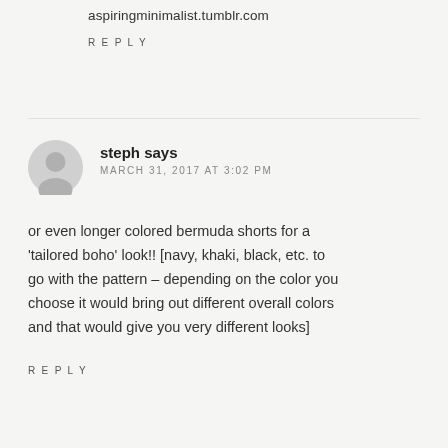aspiringminimalist.tumblr.com
REPLY
steph says
MARCH 31, 2017 AT 3:02 PM
or even longer colored bermuda shorts for a 'tailored boho' look!! [navy, khaki, black, etc. to go with the pattern – depending on the color you choose it would bring out different overall colors and that would give you very different looks]
REPLY